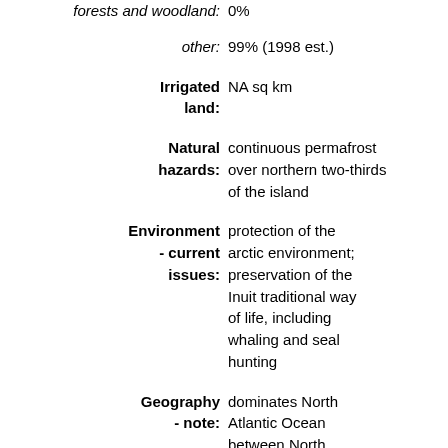forests and woodland:  0%
other:  99% (1998 est.)
Irrigated land:  NA sq km
Natural hazards:  continuous permafrost over northern two-thirds of the island
Environment - current issues:  protection of the arctic environment; preservation of the Inuit traditional way of life, including whaling and seal hunting
Geography - note:  dominates North Atlantic Ocean between North America and Europe; sparse population confined to small settlements along coast, but close to one-quarter of the population lives in the capital, Nuuk; world's